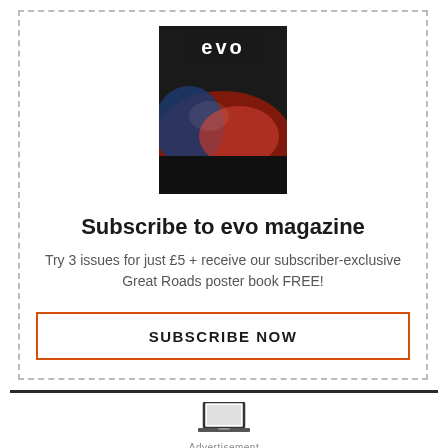[Figure (illustration): EVO magazine cover showing a racing car helmet/car image with 'evo' text at the top in white]
Subscribe to evo magazine
Try 3 issues for just £5 + receive our subscriber-exclusive Great Roads poster book FREE!
SUBSCRIBE NOW
[Figure (illustration): Laptop/screen icon at bottom]
Advertisement
[Figure (photo): Advertisement strip showing leather bags/accessories in a row with close button]